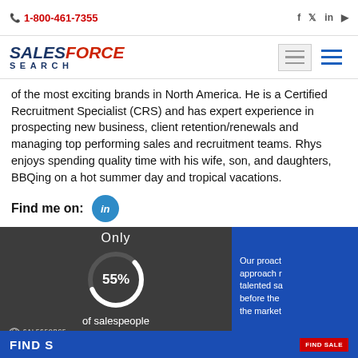1-800-461-7355
[Figure (logo): SalesForce Search logo — blue and red wordmark]
of the most exciting brands in North America. He is a Certified Recruitment Specialist (CRS) and has expert experience in prospecting new business, client retention/renewals and managing top performing sales and recruitment teams. Rhys enjoys spending quality time with his wife, son, and daughters, BBQing on a hot summer day and tropical vacations.
Find me on:
[Figure (infographic): Circular donut chart showing Only 55% of salespeople meet their quotas? on dark grey background, with blue right panel text: Our proact approach r talented sa before the the market]
FIND S